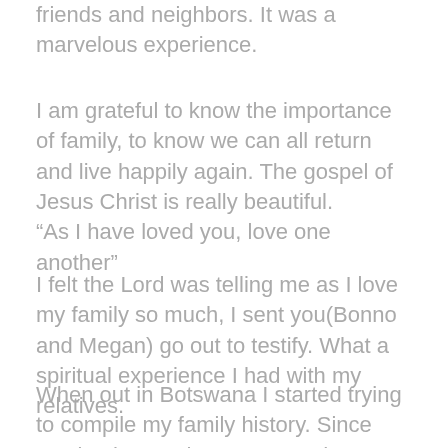friends and neighbors. It was a marvelous experience.
I am grateful to know the importance of family, to know we can all return and live happily again. The gospel of Jesus Christ is really beautiful.
“As I have loved you, love one another”
I felt the Lord was telling me as I love my family so much, I sent you(Bonno and Megan) go out to testify. What a spiritual experience I had with my relatives.
When out in Botswana I started trying to compile my family history. Since coming home I have prepared my grandparents names to take to the temple. These blessings